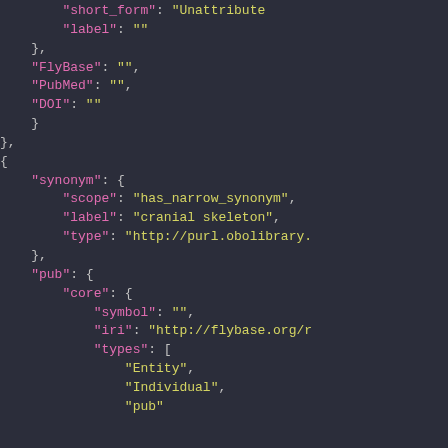[Figure (screenshot): Code editor screenshot showing JSON data structure with keys including label, FlyBase, PubMed, DOI, synonym (with scope, label, type), pub (with core containing symbol, iri, types with Entity, Individual, pub). Dark background with syntax highlighting: pink keys, yellow strings.]